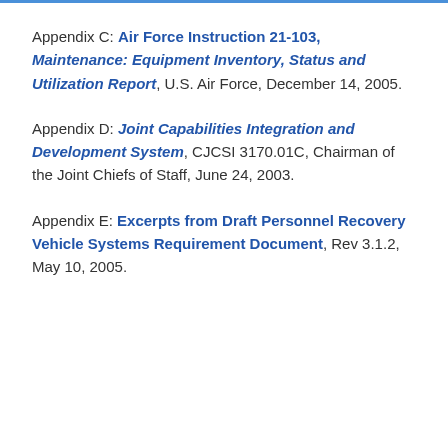Appendix C: Air Force Instruction 21-103, Maintenance: Equipment Inventory, Status and Utilization Report, U.S. Air Force, December 14, 2005.
Appendix D: Joint Capabilities Integration and Development System, CJCSI 3170.01C, Chairman of the Joint Chiefs of Staff, June 24, 2003.
Appendix E: Excerpts from Draft Personnel Recovery Vehicle Systems Requirement Document, Rev 3.1.2, May 10, 2005.